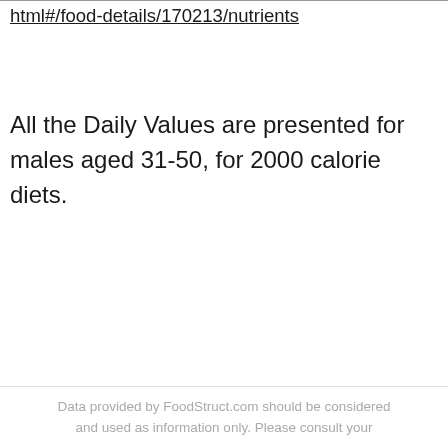html#/food-details/170213/nutrients
All the Daily Values are presented for males aged 31-50, for 2000 calorie diets.
Data provided by FoodStruct.com should be considered and used as information only. Please consult your